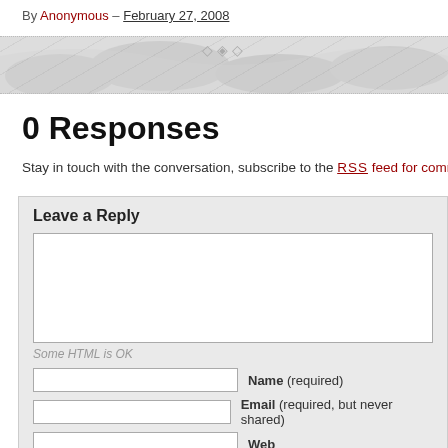By Anonymous – February 27, 2008
[Figure (illustration): Decorative horizontal banner with floral/abstract grey pattern and ornamental divider symbol]
0 Responses
Stay in touch with the conversation, subscribe to the RSS feed for comments on th
Leave a Reply
Some HTML is OK
Name (required)
Email (required, but never shared)
Web